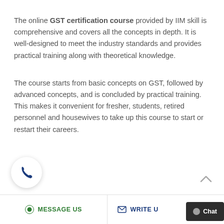The online GST certification course provided by IIM skill is comprehensive and covers all the concepts in depth. It is well-designed to meet the industry standards and provides practical training along with theoretical knowledge.
The course starts from basic concepts on GST, followed by advanced concepts, and is concluded by practical training. This makes it convenient for fresher, students, retired personnel and housewives to take up this course to start or restart their careers.
MESSAGE US   WRITE U   Chat